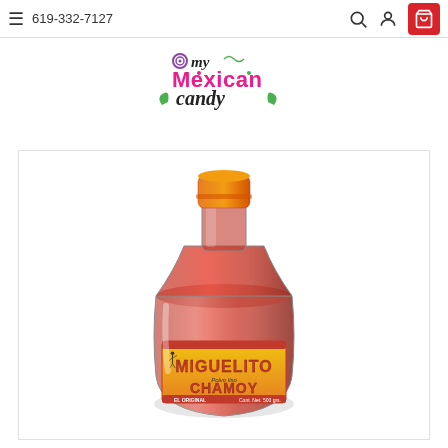619-332-7127
[Figure (logo): My Mexican Candy logo with colorful text and decorative elements]
[Figure (photo): Miguelito Chamoy powder bottle (500 grs) with orange cap and yellow label, filled with red powder]